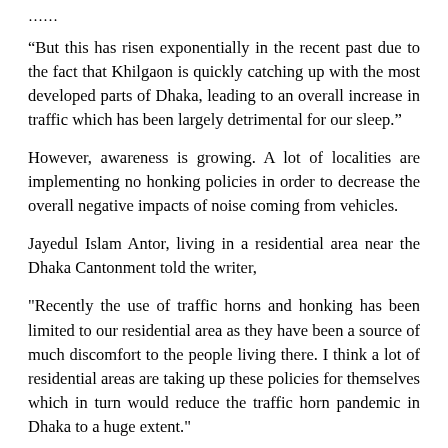……
“But this has risen exponentially in the recent past due to the fact that Khilgaon is quickly catching up with the most developed parts of Dhaka, leading to an overall increase in traffic which has been largely detrimental for our sleep.”
However, awareness is growing. A lot of localities are implementing no honking policies in order to decrease the overall negative impacts of noise coming from vehicles.
Jayedul Islam Antor, living in a residential area near the Dhaka Cantonment told the writer,
"Recently the use of traffic horns and honking has been limited to our residential area as they have been a source of much discomfort to the people living there. I think a lot of residential areas are taking up these policies for themselves which in turn would reduce the traffic horn pandemic in Dhaka to a huge extent."